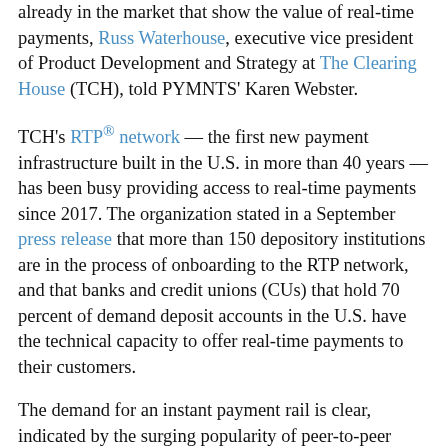already in the market that show the value of real-time payments, Russ Waterhouse, executive vice president of Product Development and Strategy at The Clearing House (TCH), told PYMNTS' Karen Webster.
TCH's RTP® network — the first new payment infrastructure built in the U.S. in more than 40 years — has been busy providing access to real-time payments since 2017. The organization stated in a September press release that more than 150 depository institutions are in the process of onboarding to the RTP network, and that banks and credit unions (CUs) that hold 70 percent of demand deposit accounts in the U.S. have the technical capacity to offer real-time payments to their customers.
The demand for an instant payment rail is clear, indicated by the surging popularity of peer-to-peer (P2P) apps among consumers and the rise in real-time push payments from card network giants like Visa. Citizens Financial Group found that as much as 90